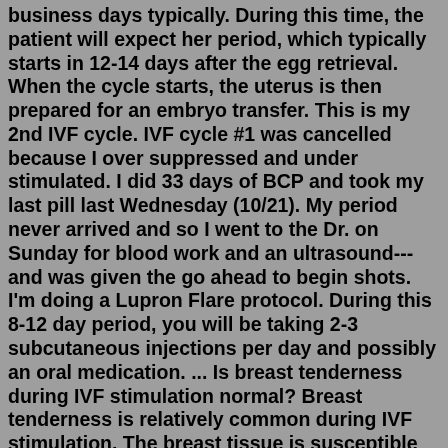business days typically. During this time, the patient will expect her period, which typically starts in 12-14 days after the egg retrieval. When the cycle starts, the uterus is then prepared for an embryo transfer. This is my 2nd IVF cycle. IVF cycle #1 was cancelled because I over suppressed and under stimulated. I did 33 days of BCP and took my last pill last Wednesday (10/21). My period never arrived and so I went to the Dr. on Sunday for blood work and an ultrasound--- and was given the go ahead to begin shots. I'm doing a Lupron Flare protocol. During this 8-12 day period, you will be taking 2-3 subcutaneous injections per day and possibly an oral medication. ... Is breast tenderness during IVF stimulation normal? Breast tenderness is relatively common during IVF stimulation. The breast tissue is susceptible to changes in estrogen levels. That is why you may notice breast discomfort ...Nov 20, 2021 · During the cycle, your ovaries will be stimulated in the first half to make lots of follicles. This starts just after you have had a bleed